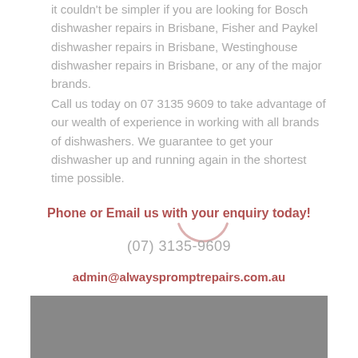it couldn't be simpler if you are looking for Bosch dishwasher repairs in Brisbane, Fisher and Paykel dishwasher repairs in Brisbane, Westinghouse dishwasher repairs in Brisbane, or any of the major brands.
Call us today on 07 3135 9609 to take advantage of our wealth of experience in working with all brands of dishwashers. We guarantee to get your dishwasher up and running again in the shortest time possible.
Phone or Email us with your enquiry today!
(07) 3135-9609
admin@alwayspromptrepairs.com.au
[Figure (other): A partial loading spinner arc in muted rose/pink color, partially visible behind text]